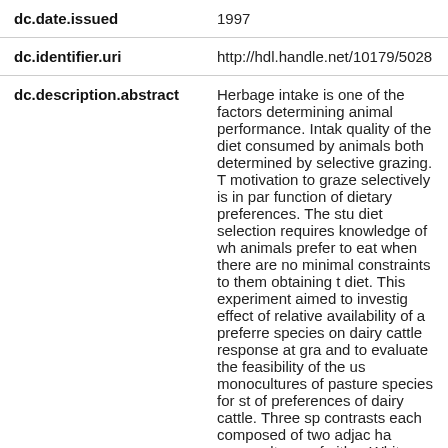| Field | Value |
| --- | --- |
| dc.date.issued | 1997 |
| dc.identifier.uri | http://hdl.handle.net/10179/5028 |
| dc.description.abstract | Herbage intake is one of the factors determining animal performance. Intake quality of the diet consumed by animals both determined by selective grazing. The motivation to graze selectively is in part function of dietary preferences. The study diet selection requires knowledge of what animals prefer to eat when there are no minimal constraints to them obtaining the diet. This experiment aimed to investigate effect of relative availability of a preferred species on dairy cattle response at grazing and to evaluate the feasibility of the use monocultures of pasture species for study of preferences of dairy cattle. Three species contrasts each composed of two adjacent ha monocultures of either White clover:Ryegrass (W_Rye), Lotus corniculatus:Ryegrass (L_Rye) or Lotu |